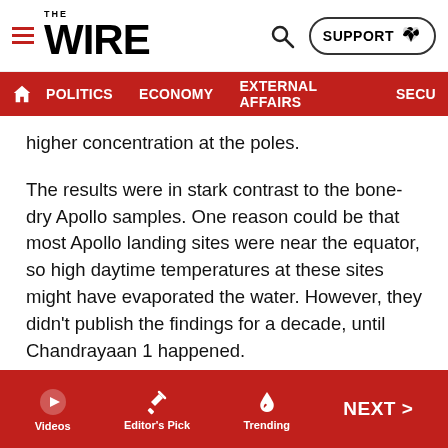THE WIRE — POLITICS | ECONOMY | EXTERNAL AFFAIRS | SECU...
higher concentration at the poles.
The results were in stark contrast to the bone-dry Apollo samples. One reason could be that most Apollo landing sites were near the equator, so high daytime temperatures at these sites might have evaporated the water. However, they didn't publish the findings for a decade, until Chandrayaan 1 happened.
The European Space Agency's instrument onboard Chandrayaan 1, SARA, analysed protons reflected by the lunar surface. Like Cassini, SARA found water/hydroxyl groups in the lunar soil. The discovery proved timely for ESA's BepiColombo mission to study Mercury, which
Videos | Editor's Pick | Trending | NEXT >